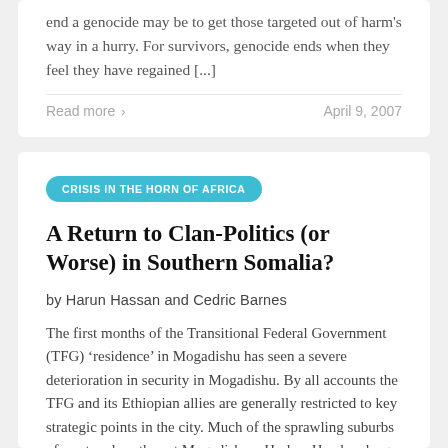end a genocide may be to get those targeted out of harm's way in a hurry. For survivors, genocide ends when they feel they have regained [...]
Read more >
April 9, 2007
CRISIS IN THE HORN OF AFRICA
A Return to Clan-Politics (or Worse) in Southern Somalia?
by Harun Hassan and Cedric Barnes
The first months of the Transitional Federal Government (TFG) ‘residence’ in Mogadishu has seen a severe deterioration in security in Mogadishu. By all accounts the TFG and its Ethiopian allies are generally restricted to key strategic points in the city. Much of the sprawling suburbs of west and northwest Mogadishu—Hodan, Hawlwadaag, Wardhigley,